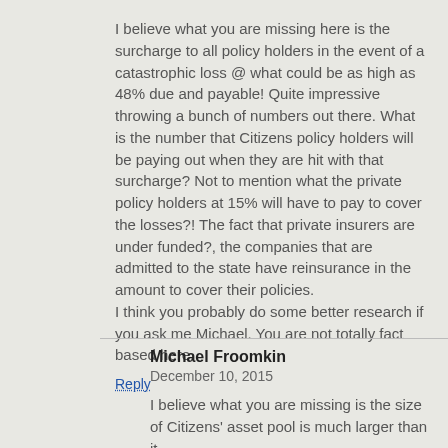I believe what you are missing here is the surcharge to all policy holders in the event of a catastrophic loss @ what could be as high as 48% due and payable! Quite impressive throwing a bunch of numbers out there. What is the number that Citizens policy holders will be paying out when they are hit with that surcharge? Not to mention what the private policy holders at 15% will have to pay to cover the losses?! The fact that private insurers are under funded?, the companies that are admitted to the state have reinsurance in the amount to cover their policies.
I think you probably do some better research if you ask me Michael. You are not totally fact based here.
Reply
Michael Froomkin
December 10, 2015
I believe what you are missing is the size of Citizens' asset pool is much larger than it